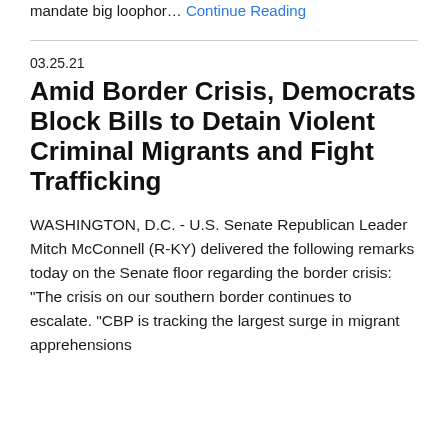mandate big loophole... Continue Reading
03.25.21
Amid Border Crisis, Democrats Block Bills to Detain Violent Criminal Migrants and Fight Trafficking
WASHINGTON, D.C. - U.S. Senate Republican Leader Mitch McConnell (R-KY) delivered the following remarks today on the Senate floor regarding the border crisis: "The crisis on our southern border continues to escalate. "CBP is tracking the largest surge in migrant apprehensions